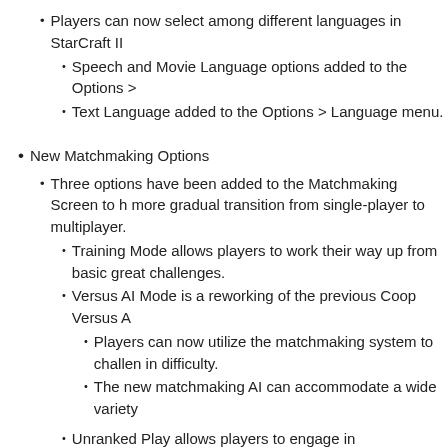Players can now select among different languages in StarCraft II
Speech and Movie Language options added to the Options >
Text Language added to the Options > Language menu.
New Matchmaking Options
Three options have been added to the Matchmaking Screen to h more gradual transition from single-player to multiplayer.
Training Mode allows players to work their way up from basic great challenges.
Versus AI Mode is a reworking of the previous Coop Versus A
Players can now utilize the matchmaking system to challen in difficulty.
The new matchmaking AI can accommodate a wide variety
Unranked Play allows players to engage in matchmaking and without the pressures of the ranking system.
For more details on these new features, please see our Ways
All-New AI Enhancements
The overall AI play experienced has been greatly enhanced.